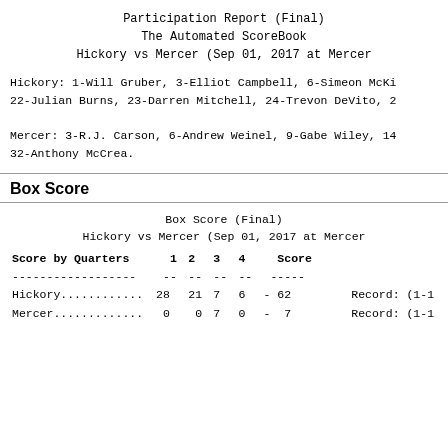Participation Report (Final)
The Automated ScoreBook
Hickory vs Mercer (Sep 01, 2017 at Mercer
Hickory: 1-Will Gruber, 3-Elliot Campbell, 6-Simeon McK...
22-Julian Burns, 23-Darren Mitchell, 24-Trevon DeVito, 2...
Mercer: 3-R.J. Carson, 6-Andrew Weinel, 9-Gabe Wiley, 14...
32-Anthony McCrea.
Box Score
Box Score (Final)
Hickory vs Mercer (Sep 01, 2017 at Mercer
| Score by Quarters | 1 | 2 | 3 | 4 | Score |  |
| --- | --- | --- | --- | --- | --- | --- |
| Hickory............ | 28 | 21 | 7 | 6 | - 62 | Record: (1-... |
| Mercer............. | 0 | 0 | 7 | 0 | - 7 | Record: (1-... |